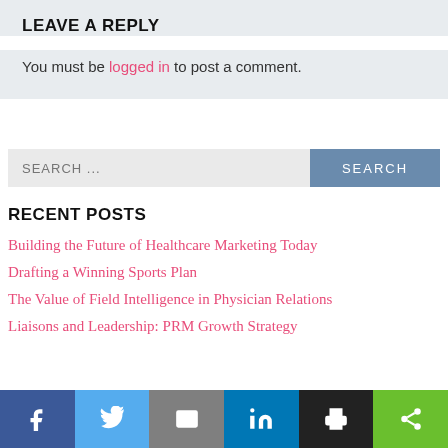LEAVE A REPLY
You must be logged in to post a comment.
SEARCH ...
RECENT POSTS
Building the Future of Healthcare Marketing Today
Drafting a Winning Sports Plan
The Value of Field Intelligence in Physician Relations
Liaisons and Leadership: PRM Growth Strategy